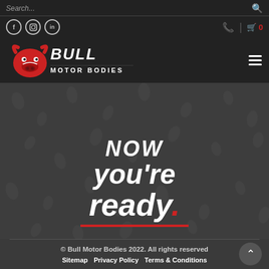Search... [search icon] | [Facebook] [Instagram] [LinkedIn] | [phone icon] | [cart] 0
[Figure (logo): Bull Motor Bodies logo — red bull head with white BULL MOTOR BODIES text]
[Figure (photo): Dark grey hero banner with paw/hoof print pattern background, large white italic text reading 'Now you're ready.' with red dot and red underline]
© Bull Motor Bodies 2022. All rights reserved | Sitemap | Privacy Policy | Terms & Conditions